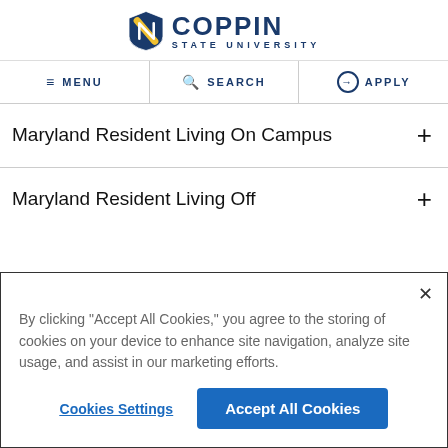[Figure (logo): Coppin State University logo with gold and navy shield and text]
MENU   SEARCH   APPLY
Maryland Resident Living On Campus
Maryland Resident Living Off
By clicking “Accept All Cookies,” you agree to the storing of cookies on your device to enhance site navigation, analyze site usage, and assist in our marketing efforts.
Cookies Settings   Accept All Cookies